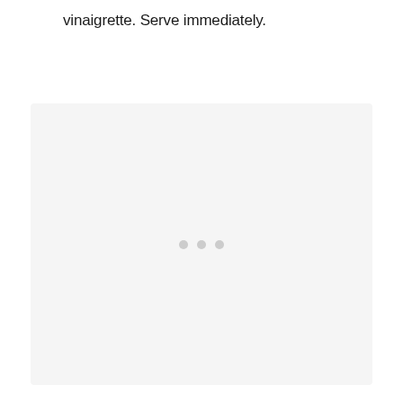vinaigrette. Serve immediately.
[Figure (photo): Large light gray placeholder box with three small gray loading dots centered slightly below midpoint, indicating an image that has not yet loaded.]